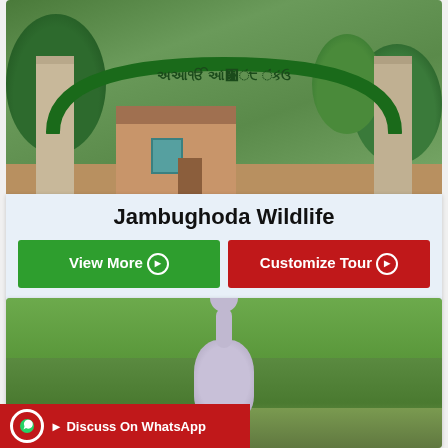[Figure (photo): Entrance gate of Jambughoda Wildlife Sanctuary with stone pillars, green arch, trees, and a building in the background]
Jambughoda Wildlife
View More ▶
Customize Tour ▶
[Figure (photo): Sarus crane bird standing on green grass ground]
Discuss On WhatsApp